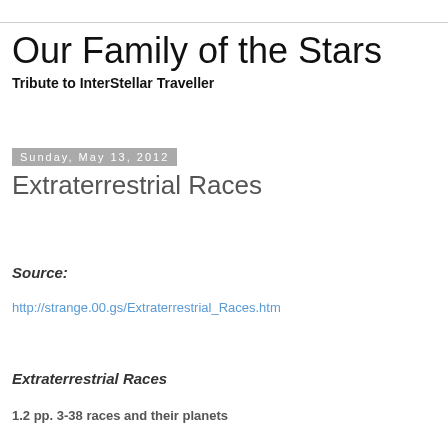Our Family of the Stars
Tribute to InterStellar Traveller
Sunday, May 13, 2012
Extraterrestrial Races
Source:
http://strange.00.gs/Extraterrestrial_Races.htm
Extraterrestrial Races
1.2 pp. 3-38 races and their planets